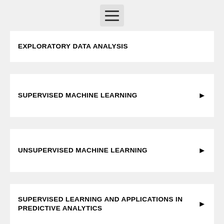[Figure (other): Hamburger menu icon button at top center of page]
EXPLORATORY DATA ANALYSIS
SUPERVISED MACHINE LEARNING
UNSUPERVISED MACHINE LEARNING
SUPERVISED LEARNING AND APPLICATIONS IN PREDICTIVE ANALYTICS